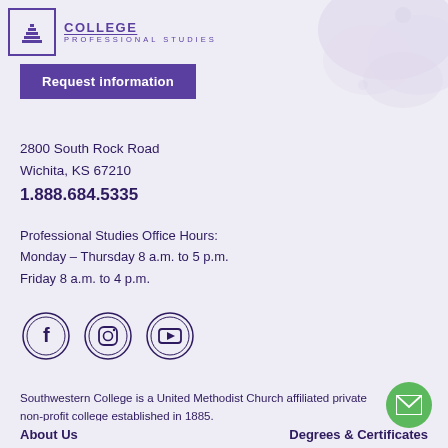[Figure (logo): Southwestern College Professional Studies logo with pyramid/steps icon and college name with underline]
Request information
2800 South Rock Road
Wichita, KS 67210
1.888.684.5335
Professional Studies Office Hours:
Monday – Thursday 8 a.m. to 5 p.m.
Friday 8 a.m. to 4 p.m.
[Figure (illustration): Social media icons: Facebook, Instagram, YouTube in double-outline circle style]
Southwestern College is a United Methodist Church affiliated private non-profit college established in 1885.
About Us
Degrees & Certificates